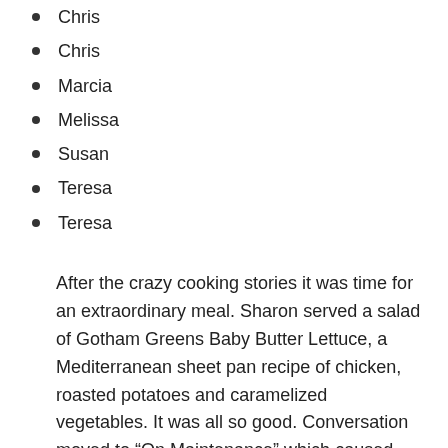Chris
Chris
Marcia
Melissa
Susan
Teresa
Teresa
After the crazy cooking stories it was time for an extraordinary meal. Sharon served a salad of Gotham Greens Baby Butter Lettuce, a Mediterranean sheet pan recipe of chicken, roasted potatoes and caramelized vegetables. It was all so good. Conversation moved to “On Maintenance” which caused many of us to admit that COVID moved us into the category of looking like “a person who no longer cares.”   For dessert we enjoyed two versions of a Dorie Greenspan recipe — one full plate and one gluten free. Susan’s gluten free Sho...